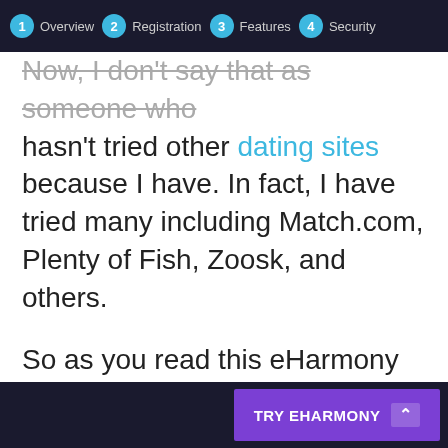1 Overview  2 Registration  3 Features  4 Security
Now, I don't say that as someone who hasn't tried other dating sites because I have. In fact, I have tried many including Match.com, Plenty of Fish, Zoosk, and others.
So as you read this eHarmony review, understand that I love eHarmony. It changed my life.
Overview